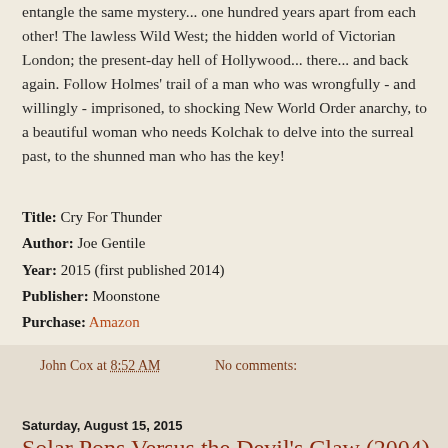entangle the same mystery... one hundred years apart from each other! The lawless Wild West; the hidden world of Victorian London; the present-day hell of Hollywood... there... and back again. Follow Holmes' trail of a man who was wrongfully - and willingly - imprisoned, to shocking New World Order anarchy, to a beautiful woman who needs Kolchak to delve into the surreal past, to the shunned man who has the key!
Title: Cry For Thunder
Author: Joe Gentile
Year: 2015 (first published 2014)
Publisher: Moonstone
Purchase: Amazon
John Cox at 8:52 AM    No comments:
Share
Saturday, August 15, 2015
Solar Pons Versus the Devil's Claw (2004)